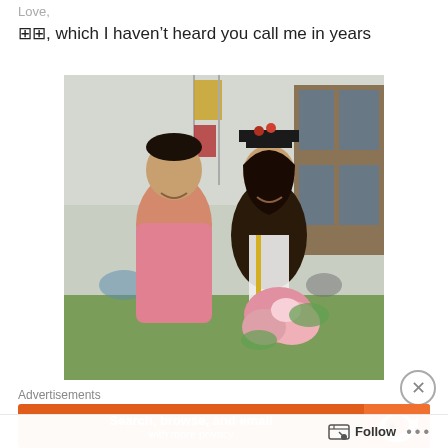Love,
®®, which I haven’t heard you call me in years
[Figure (photo): Two people posing together at a graduation ceremony outdoors. A young man in a pink button-up shirt stands on the left, smiling. A young woman in graduation regalia (black cap with red berries, black and red graduation gown with white stole and yellow tassel) stands on the right holding a bouquet of pink flowers. Flags and a brick building are visible in the background.]
Advertisements
Search, browse, and email with more privacy
Follow
•••